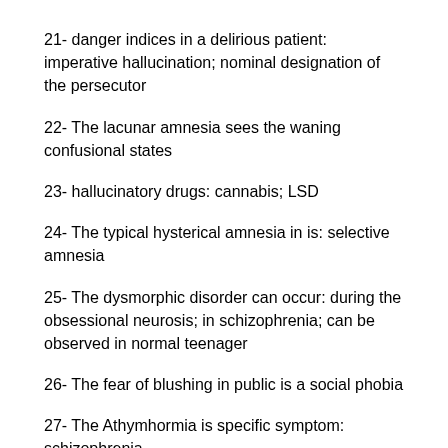21- danger indices in a delirious patient: imperative hallucination; nominal designation of the persecutor
22- The lacunar amnesia sees the waning confusional states
23- hallucinatory drugs: cannabis; LSD
24- The typical hysterical amnesia in is: selective amnesia
25- The dysmorphic disorder can occur: during the obsessional neurosis; in schizophrenia; can be observed in normal teenager
26- The fear of blushing in public is a social phobia
27- The Athymhormia is specific symptom: schizophrenia